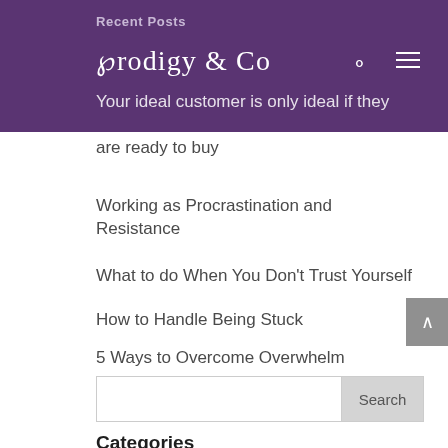Prodigy & Co
Recent Posts
Your ideal customer is only ideal if they are ready to buy
Working as Procrastination and Resistance
What to do When You Don't Trust Yourself
How to Handle Being Stuck
5 Ways to Overcome Overwhelm
Categories